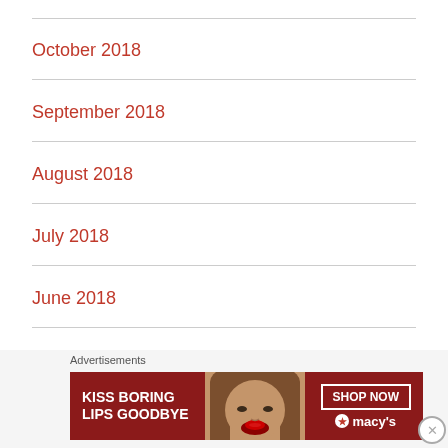October 2018
September 2018
August 2018
July 2018
June 2018
May 2018
April 2018
Advertisements
[Figure (photo): Macy's advertisement banner: 'KISS BORING LIPS GOODBYE' with a woman's face and red lips, SHOP NOW button and Macy's star logo]